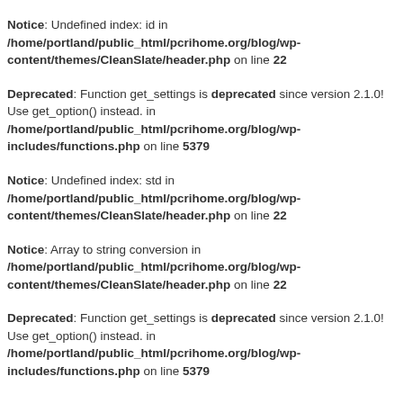Notice: Undefined index: id in /home/portland/public_html/pcrihome.org/blog/wp-content/themes/CleanSlate/header.php on line 22
Deprecated: Function get_settings is deprecated since version 2.1.0! Use get_option() instead. in /home/portland/public_html/pcrihome.org/blog/wp-includes/functions.php on line 5379
Notice: Undefined index: std in /home/portland/public_html/pcrihome.org/blog/wp-content/themes/CleanSlate/header.php on line 22
Notice: Array to string conversion in /home/portland/public_html/pcrihome.org/blog/wp-content/themes/CleanSlate/header.php on line 22
Deprecated: Function get_settings is deprecated since version 2.1.0! Use get_option() instead. in /home/portland/public_html/pcrihome.org/blog/wp-includes/functions.php on line 5379